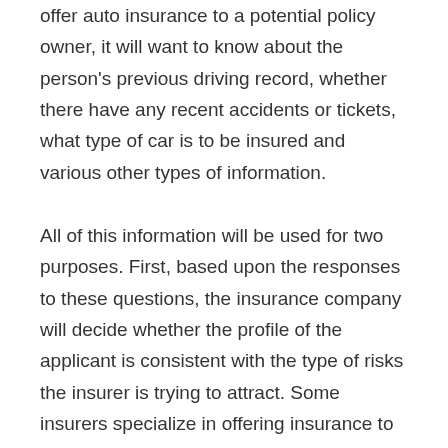offer auto insurance to a potential policy owner, it will want to know about the person's previous driving record, whether there have any recent accidents or tickets, what type of car is to be insured and various other types of information.
All of this information will be used for two purposes. First, based upon the responses to these questions, the insurance company will decide whether the profile of the applicant is consistent with the type of risks the insurer is trying to attract. Some insurers specialize in offering insurance to only very safe drivers and therefore will only accept applications from people who fit the profile of a safe driver. Second, once the insurer has decided that your risk profile is consistent with the types of risks it accepts, the answers to the questions will be used to determine which rate to charge you. For